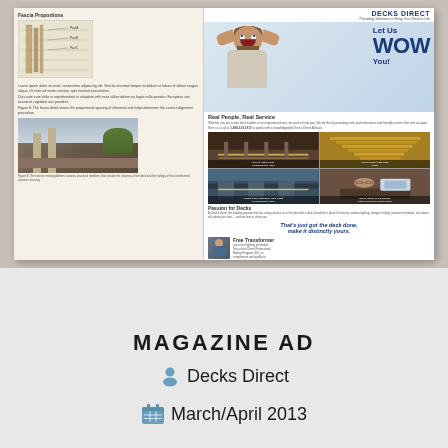[Figure (photo): Photograph of an open magazine spread showing a Decks Direct advertisement on the right page and an article with a fascia diagram on the left page. The ad features a surprised man with hands on his head, 'Let Us WOW You!' headline text, four deck photos in a grid, QR code, phone number 1-888-824-8318, and website www.DecksDirect.com.]
MAGAZINE AD
Decks Direct
March/April 2013